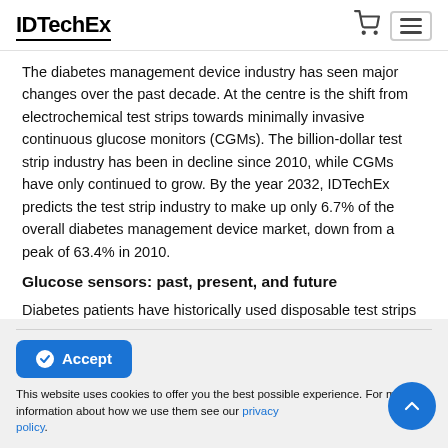IDTechEx
The diabetes management device industry has seen major changes over the past decade. At the centre is the shift from electrochemical test strips towards minimally invasive continuous glucose monitors (CGMs). The billion-dollar test strip industry has been in decline since 2010, while CGMs have only continued to grow. By the year 2032, IDTechEx predicts the test strip industry to make up only 6.7% of the overall diabetes management device market, down from a peak of 63.4% in 2010.
Glucose sensors: past, present, and future
Diabetes patients have historically used disposable test strips
This website uses cookies to offer you the best possible experience. For more information about how we use them see our privacy policy.